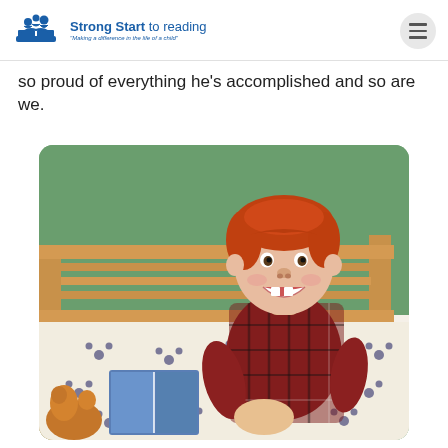Strong Start to reading — Making a difference in the life of a child
so proud of everything he's accomplished and so are we.
[Figure (photo): A young red-haired boy smiling, sitting on a bed with a Mickey Mouse patterned comforter, leaning against a wooden bunk bed frame in front of a green wall, with a book open in his lap. He is wearing a red plaid shirt.]